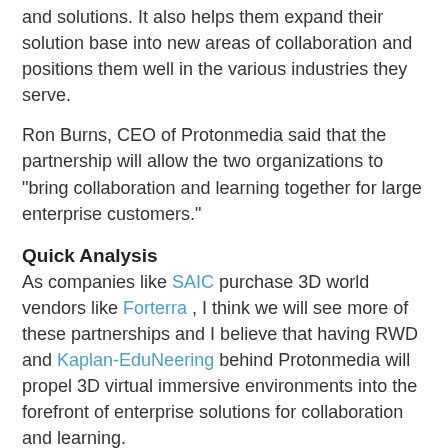and solutions. It also helps them expand their solution base into new areas of collaboration and positions them well in the various industries they serve.
Ron Burns, CEO of Protonmedia said that the partnership will allow the two organizations to "bring collaboration and learning together for large enterprise customers."
Quick Analysis
As companies like SAIC purchase 3D world vendors like Forterra , I think we will see more of these partnerships and I believe that having RWD and Kaplan-EduNeering behind Protonmedia will propel 3D virtual immersive environments into the forefront of enterprise solutions for collaboration and learning.
More on this story as it unfolds.
Catalog of Recommended Books, Games and Gadgets Recommended Games and Gadgets Recommended Books